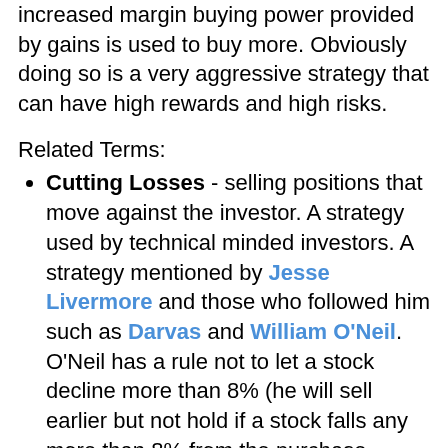increased margin buying power provided by gains is used to buy more. Obviously doing so is a very aggressive strategy that can have high rewards and high risks.
Related Terms:
Cutting Losses - selling positions that move against the investor. A strategy used by technical minded investors. A strategy mentioned by Jesse Livermore and those who followed him such as Darvas and William O'Neil. O'Neil has a rule not to let a stock decline more than 8% (he will sell earlier but not hold if a stock falls any more than 8% from the purchase price). The concept of cutting losses is one of the most accepted axioms and one that successful investors repeat as the key to success.
Letting Winners Run - keeping those positions that are increasing. Along with, cutting losses, the concept is to stay in the positions that are doing well and sell those